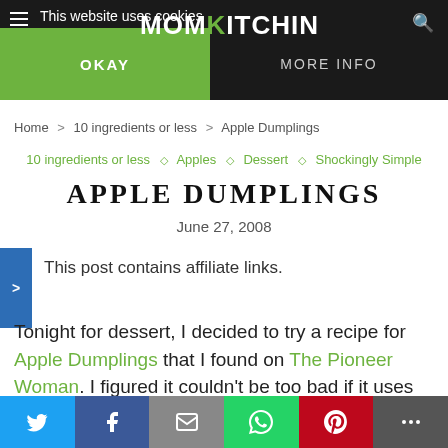This website uses cookies | OKAY | MORE INFO
Home > 10 ingredients or less > Apple Dumplings
10 ingredients or less ◇ Apples ◇ Dessert ◇ Shockingly Simple
APPLE DUMPLINGS
June 27, 2008
This post contains affiliate links.
Tonight for dessert, I decided to try a recipe for Apple Dumplings that I found on The Pioneer Woman. I figured it couldn't be too bad if it uses crescent rolls and butter. Good thing I only made a half recipe or we would have
Twitter | Facebook | Email | WhatsApp | Pinterest | More